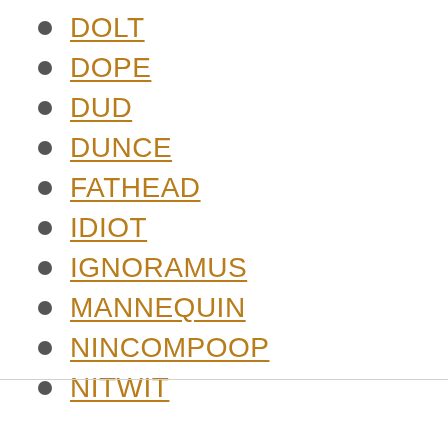DOLT
DOPE
DUD
DUNCE
FATHEAD
IDIOT
IGNORAMUS
MANNEQUIN
NINCOMPOOP
NITWIT